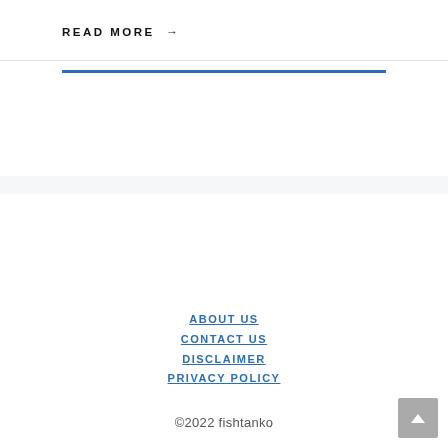READ MORE →
ABOUT US
CONTACT US
DISCLAIMER
PRIVACY POLICY
©2022 fishtanko